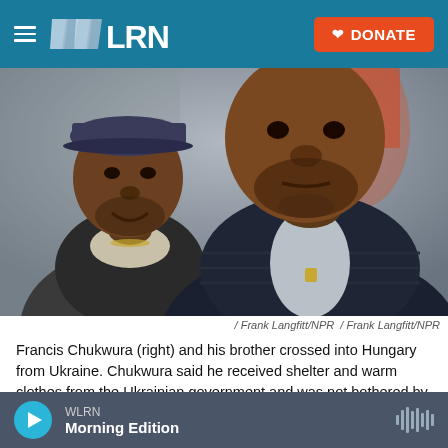WLRN | DONATE
[Figure (photo): Two Black men in winter jackets standing close together. The man on the left wears a blue cap and a sherpa-collar jacket. The man on the right wears a dark puffer jacket with a light-colored inner jacket. The background shows an outdoor area with blurred colors.]
/ Frank Langfitt/NPR / Frank Langfitt/NPR
Francis Chukwura (right) and his brother crossed into Hungary from Ukraine. Chukwura said he received shelter and warm clothes from the Ukrainian government and was not bothered by Ukrainians getting priority
WLRN Morning Edition